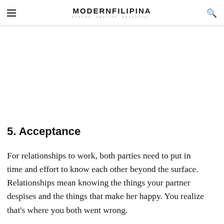MODERNFILIPINA STRONG. HEALTHY. BEAUTIFUL.
5. Acceptance
For relationships to work, both parties need to put in time and effort to know each other beyond the surface. Relationships mean knowing the things your partner despises and the things that make her happy. You realize that's where you both went wrong.